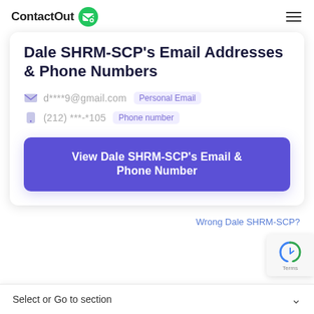ContactOut
Dale SHRM-SCP's Email Addresses & Phone Numbers
d****9@gmail.com  Personal Email
(212) ***-*105  Phone number
View Dale SHRM-SCP's Email & Phone Number
Wrong Dale SHRM-SCP?
Select or Go to section